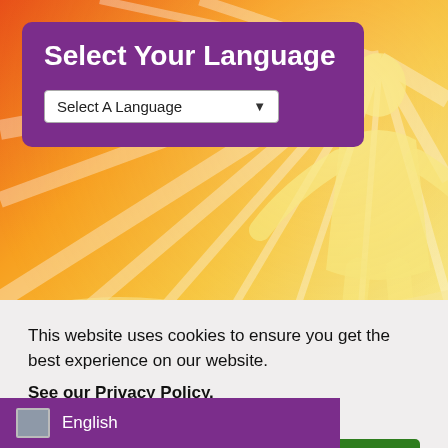[Figure (illustration): Colorful sunburst background with orange, yellow and cream gradient rays, and a cream/yellow silhouette of a human figure with arms outstretched on the right side.]
Select Your Language
Select A Language
Newsletter Sign Up
This website uses cookies to ensure you get the best experience on our website. See our Privacy Policy.
I Accept
English